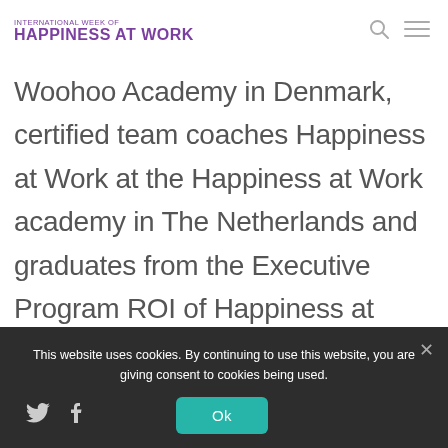INTERNATIONAL WEEK OF HAPPINESS AT WORK
Woohoo Academy in Denmark, certified team coaches Happiness at Work at the Happiness at Work academy in The Netherlands and graduates from the Executive Program ROI of Happiness at Erasmus University in Rotterdam, The Netherlands.
This website uses cookies. By continuing to use this website, you are giving consent to cookies being used.